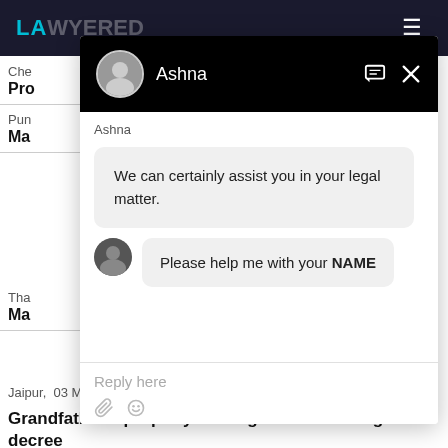LAWYERED
Che
Pro
Pun
Ma
Tha
Ma
[Figure (screenshot): Chat popup overlay with agent Ashna. Bot message: 'We can certainly assist you in your legal matter.' User message: 'Please help me with your NAME'. Reply input with placeholder 'Reply here' and attachment/emoji icons.]
Jaipur, 03 May, 2021, (1 year, 3 months ago)
Grandfather's property to his grandson through decree